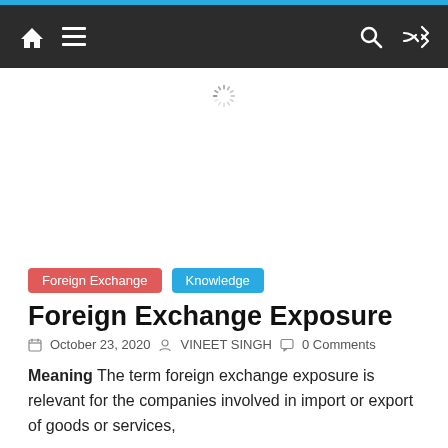Navigation bar with home, menu, search, and shuffle icons
[Figure (other): Loading spinner icon (circular dashed spinner)]
Foreign Exchange
Knowledge
Foreign Exchange Exposure
October 23, 2020   VINEET SINGH   0 Comments
Meaning The term foreign exchange exposure is relevant for the companies involved in import or export of goods or services,